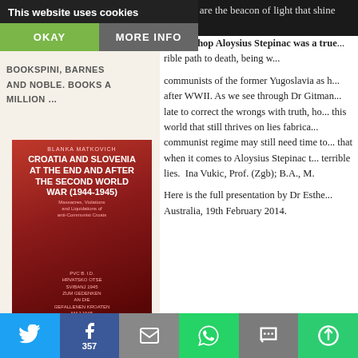This website uses cookies
OKAY | MORE INFO
COMMUNIST CRIMES – AMAZON,
BOOKSPINI, BARNES AND NOBLE. BOOKS A MILLION …
[Figure (illustration): Book cover: Croatia and Slovenia at the End and After the Second World War (1944-1945) by Blanka Matkovich, red background with images]
LIVING CELLS – JULIENNE EDEN BUSIC
and still are the beacon of light that shi...
Archbishop Aloysius Stepinac was a tru... rible path to death, being w... communists of the former Yugoslavia as h... after WWII. As we see through Dr Gitman... late to correct the wrongs with truth, ho... this world that still thrives on lies fabrica... communist regime may still need time to... that when it comes to Aloysius Stepinac t... terrible lies.  Ina Vukic, Prof. (Zgb); B.A., M.
Here is the full presentation by Dr Esthe... Australia, 19th February 2014.
[Figure (photo): Partial photo of a person, warm tones, lower right of page]
Social share bar: Twitter, Facebook (357), Email, WhatsApp, SMS, More